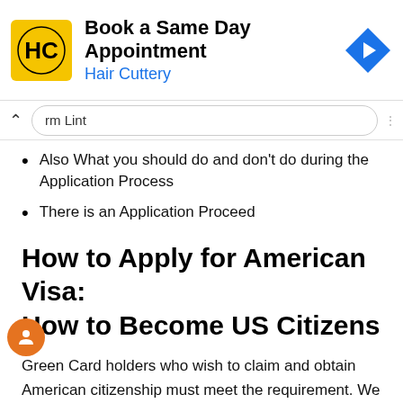[Figure (logo): Hair Cuttery advertisement banner with HC logo, 'Book a Same Day Appointment' text, 'Hair Cuttery' subtitle in blue, and a blue navigation diamond arrow icon on the right.]
rm Lint
Also What you should do and don't do during the Application Process
There is an Application Proceed
How to Apply for American Visa: How to Become US Citizens
Green Card holders who wish to claim and obtain American citizenship must meet the requirement. We know how important the green card is to everyone in the world. The US Green Card is one of the most